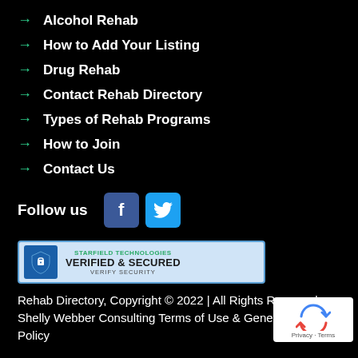Alcohol Rehab
How to Add Your Listing
Drug Rehab
Contact Rehab Directory
Types of Rehab Programs
How to Join
Contact Us
Follow us
[Figure (logo): Starfield Technologies Verified & Secured badge]
Rehab Directory, Copyright © 2022 | All Rights Reserved. Shelly Webber Consulting Terms of Use & General Privacy Policy